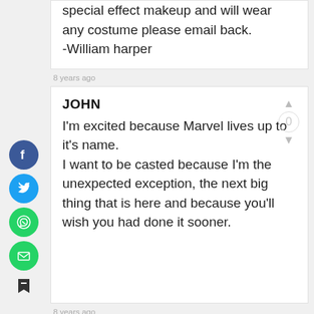special effect makeup and will wear any costume please email back.
-William harper
8 years ago
JOHN
I'm excited because Marvel lives up to it's name.
I want to be casted because I'm the unexpected exception, the next big thing that is here and because you'll wish you had done it sooner.
8 years ago